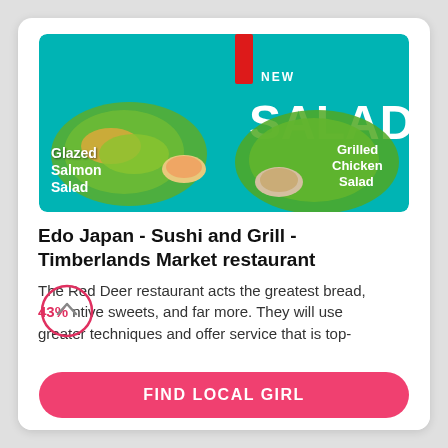[Figure (photo): Advertisement image on teal background showing two salad dishes: Glazed Salmon Salad on the left and Grilled Chicken Salad on the right. Red stripe accent and text 'NEW SALADS' in white bold lettering.]
Edo Japan - Sushi and Grill - Timberlands Market restaurant
The Red Deer restaurant acts the greatest bread, 43% ntive sweets, and far more. They will use greater techniques and offer service that is top-
FIND LOCAL GIRL